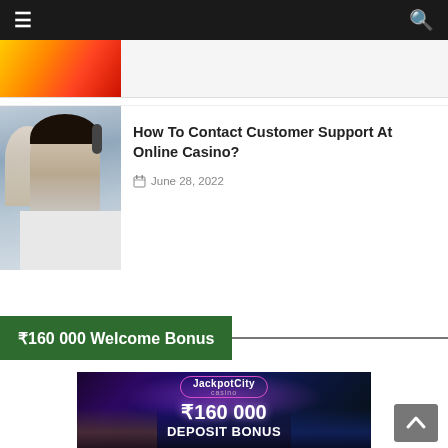Navigation bar with menu and search icon
[Figure (photo): Partial image strip at top showing colorful playing cards or casino-related image]
[Figure (photo): Customer support agent - woman with headset smiling, man in background also with headset]
How To Contact Customer Support At Online Casino?
June 28, 2022
₹160 000 Welcome Bonus
[Figure (photo): JackpotCity Casino banner showing ₹160 000 DEPOSIT BONUS text over a cityscape background with purple/dark sky]